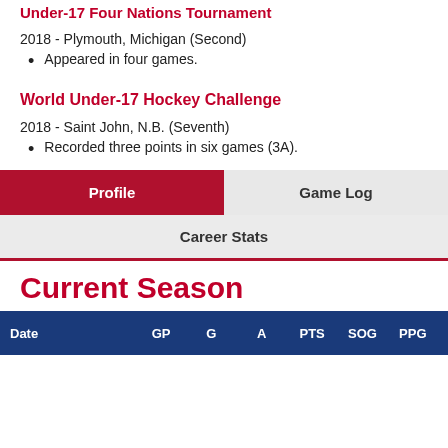Under-17 Four Nations Tournament
2018 - Plymouth, Michigan (Second)
Appeared in four games.
World Under-17 Hockey Challenge
2018 - Saint John, N.B. (Seventh)
Recorded three points in six games (3A).
| Profile | Game Log |
| --- | --- |
Career Stats
Current Season
| Date | GP | G | A | PTS | SOG | PPG |
| --- | --- | --- | --- | --- | --- | --- |